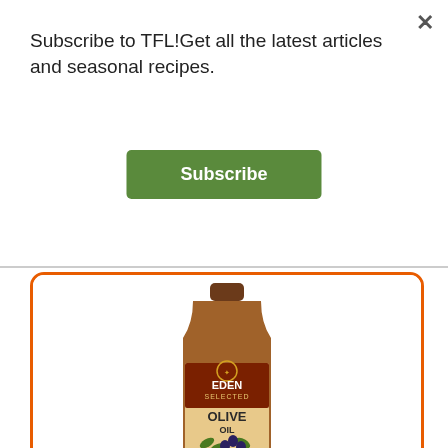Subscribe to TFL!Get all the latest articles and seasonal recipes.
Subscribe
[Figure (photo): EDEN Selected Olive Oil bottle — Spanish Extra Virgin olive oil in a brown glass bottle with label showing EDEN SELECTED OLIVE OIL Spanish Extra Virgin]
EDEN Extra Virgin Olive Oil comes from centuries old, family tended olive groves in the Southern Andalucian region of Spain widely known for producing the world's finest olives and olive oil.
edenfoods.com
See More Hot Products
ADVERTISEMENT